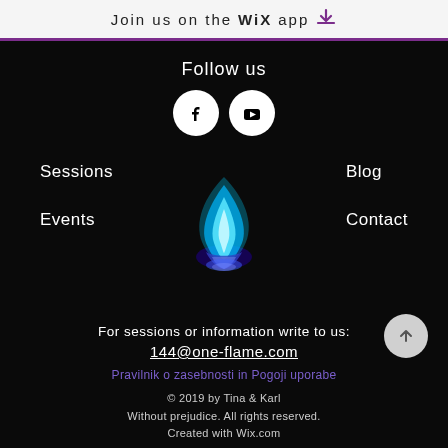Join us on the WiX app
Follow us
[Figure (illustration): Facebook and YouTube social media icons (white circles with logos)]
Sessions
[Figure (illustration): Blue flame logo/graphic in center]
Blog
Events
Contact
For sessions or information write to us:
144@one-flame.com
Pravilnik o zasebnosti in Pogoji uporabe
© 2019 by Tina & Karl
Without prejudice. All rights reserved.
Created with Wix.com